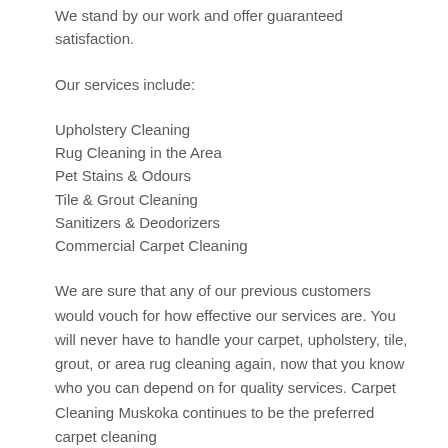We stand by our work and offer guaranteed satisfaction.
Our services include:
Upholstery Cleaning
Rug Cleaning in the Area
Pet Stains & Odours
Tile & Grout Cleaning
Sanitizers & Deodorizers
Commercial Carpet Cleaning
We are sure that any of our previous customers would vouch for how effective our services are. You will never have to handle your carpet, upholstery, tile, grout, or area rug cleaning again, now that you know who you can depend on for quality services. Carpet Cleaning Muskoka continues to be the preferred carpet cleaning